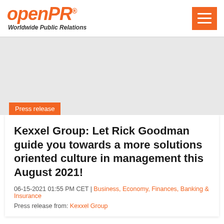[Figure (logo): openPR logo with tagline 'Worldwide Public Relations' in orange italic bold text]
[Figure (other): Orange hamburger menu button with three white horizontal lines]
[Figure (other): Gray banner/advertisement area]
Press release
Kexxel Group: Let Rick Goodman guide you towards a more solutions oriented culture in management this August 2021!
06-15-2021 01:55 PM CET | Business, Economy, Finances, Banking & Insurance
Press release from: Kexxel Group